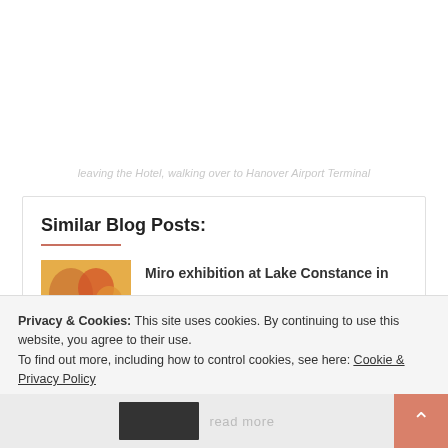leaving the Hotel, walking over to Hanover Airport Terminal
Similar Blog Posts:
Miro exhibition at Lake Constance in
Privacy & Cookies: This site uses cookies. By continuing to use this website, you agree to their use.
To find out more, including how to control cookies, see here: Cookie & Privacy Policy
Close and accept